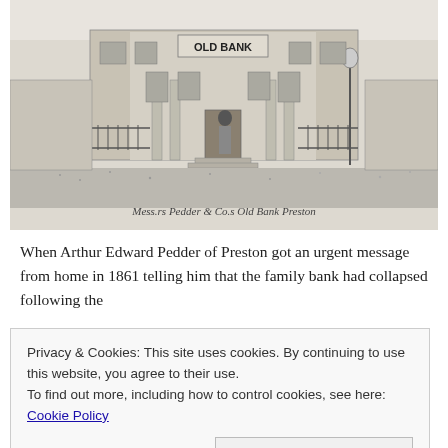[Figure (illustration): A black and white engraving/illustration of a building labeled 'OLD BANK' with columns at its entrance, iron railings, a street lamp, and a figure standing in front. Below the illustration is cursive script reading 'Mess.rs Pedder & Co.s Old Bank Preston']
When Arthur Edward Pedder of Preston got an urgent message from home in 1861 telling him that the family bank had collapsed following the
Privacy & Cookies: This site uses cookies. By continuing to use this website, you agree to their use.
To find out more, including how to control cookies, see here: Cookie Policy
Close and accept
two sisters to support. He took a job as a bank